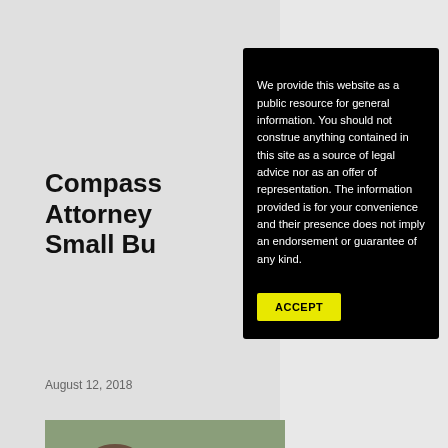Compass Attorney Small Bu...
August 12, 2018
[Figure (photo): Family photo with adults and children laughing outdoors, partially visible behind modal dialog]
We provide this website as a public resource for general information. You should not construe anything contained in this site as a source of legal advice nor as an offer of representation. The information provided is for your convenience and their presence does not imply an endorsement or guarantee of any kind.
ACCEPT